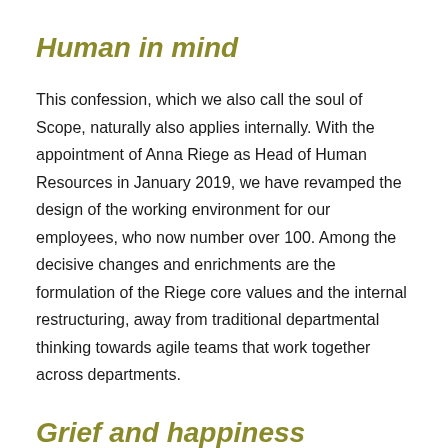Human in mind
This confession, which we also call the soul of Scope, naturally also applies internally. With the appointment of Anna Riege as Head of Human Resources in January 2019, we have revamped the design of the working environment for our employees, who now number over 100. Among the decisive changes and enrichments are the formulation of the Riege core values and the internal restructuring, away from traditional departmental thinking towards agile teams that work together across departments.
Grief and happiness